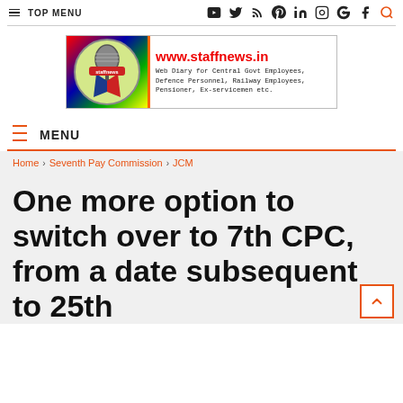TOP MENU | social icons: YouTube, Twitter, RSS, Pinterest, LinkedIn, Instagram, Google+, Facebook, Search
[Figure (logo): staffnews.in banner logo with microphone graphic, URL www.staffnews.in and tagline: Web Diary for Central Govt Employees, Defence Personnel, Railway Employees, Pensioner, Ex-servicemen etc.]
MENU
Home > Seventh Pay Commission > JCM
One more option to switch over to 7th CPC, from a date subsequent to 25th